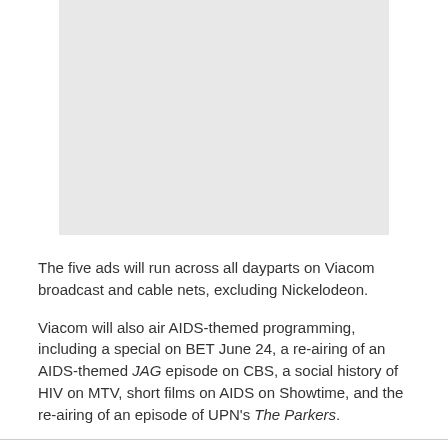[Figure (other): Gray placeholder image rectangle]
The five ads will run across all dayparts on Viacom broadcast and cable nets, excluding Nickelodeon.
Viacom will also air AIDS-themed programming, including a special on BET June 24, a re-airing of an AIDS-themed JAG episode on CBS, a social history of HIV on MTV, short films on AIDS on Showtime, and the re-airing of an episode of UPN's The Parkers.